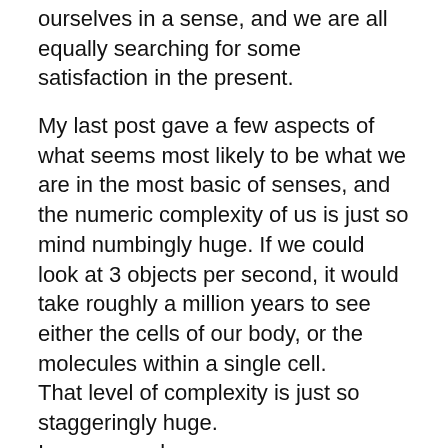ourselves in a sense, and we are all equally searching for some satisfaction in the present.
My last post gave a few aspects of what seems most likely to be what we are in the most basic of senses, and the numeric complexity of us is just so mind numbingly huge. If we could look at 3 objects per second, it would take roughly a million years to see either the cells of our body, or the molecules within a single cell.
That level of complexity is just so staggeringly huge.
In a very real sense we can never understand it, we are the result of it, not the cause of it. It actually seems to be possible to model many of the major subsystems that make us what we are, and never to a level that offers absolute predictability, only ever to a certain confidence, a certain level of probability.
So in that sense, the sense that any model of us is going